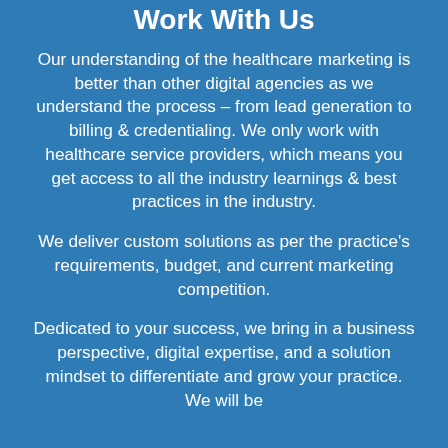Work With Us
Our understanding of the healthcare marketing is better than other digital agencies as we understand the process – from lead generation to billing & credentialing. We only work with healthcare service providers, which means you get access to all the industry learnings & best practices in the industry.
We deliver custom solutions as per the practice's requirements, budget, and current marketing competition.
Dedicated to your success, we bring in a business perspective, digital expertise, and a solution mindset to differentiate and grow your practice. We will be